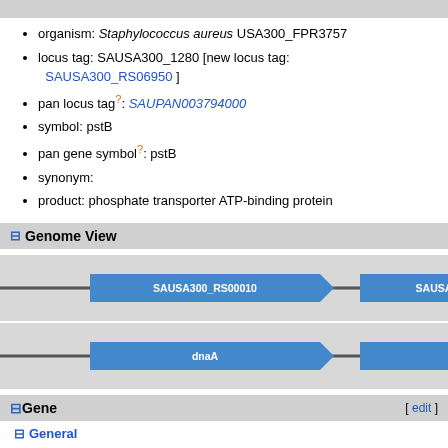organism: Staphylococcus aureus USA300_FPR3757
locus tag: SAUSA300_1280 [new locus tag: SAUSA300_RS06950 ]
pan locus tag?: SAUPAN003794000
symbol: pstB
pan gene symbol?: pstB
synonym:
product: phosphate transporter ATP-binding protein
Genome View
[Figure (schematic): Genome view showing gene arrows for SAUSA300_RS00010, SAUSA300_RS00015 on top track and dnaA, dnaN on bottom track]
Gene
General
type: CDS